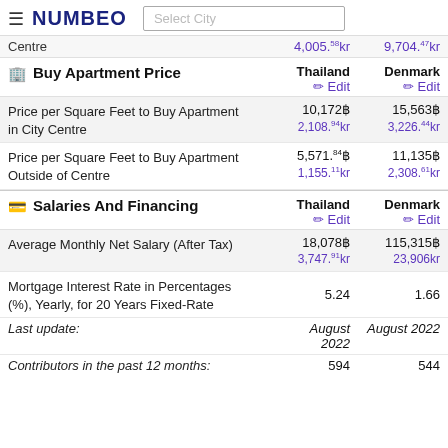NUMBEO — Select City
Centre  4,005.58kr  9,704.47kr
Buy Apartment Price — Thailand Edit | Denmark Edit
|  | Thailand | Denmark |
| --- | --- | --- |
| Price per Square Feet to Buy Apartment in City Centre | 10,172฿
2,108.94kr | 15,563฿
3,226.44kr |
| Price per Square Feet to Buy Apartment Outside of Centre | 5,571.84฿
1,155.11kr | 11,135฿
2,308.61kr |
Salaries And Financing — Thailand Edit | Denmark Edit
|  | Thailand | Denmark |
| --- | --- | --- |
| Average Monthly Net Salary (After Tax) | 18,078฿
3,747.91kr | 115,315฿
23,906kr |
| Mortgage Interest Rate in Percentages (%), Yearly, for 20 Years Fixed-Rate | 5.24 | 1.66 |
| Last update: | August 2022 | August 2022 |
| Contributors in the past 12 months: | 594 | 544 |